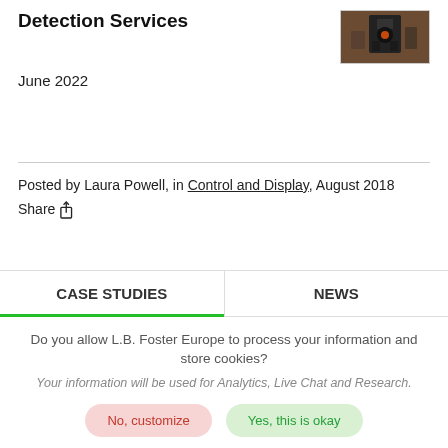Detection Services
June 2022
[Figure (photo): Thumbnail photo of industrial equipment, dark background with orange/red elements]
Posted by Laura Powell, in Control and Display, August 2018
Share
CASE STUDIES | NEWS
Do you allow L.B. Foster Europe to process your information and store cookies?
Your information will be used for Analytics, Live Chat and Research.
No, customize
Yes, this is okay